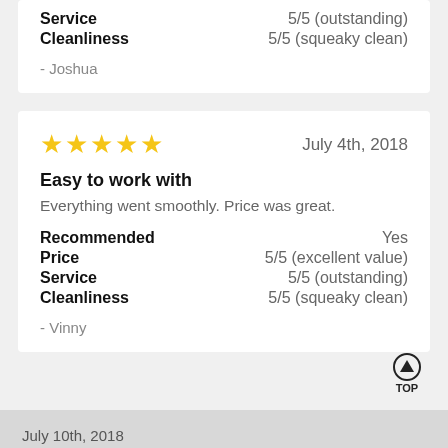Service   5/5 (outstanding)
Cleanliness   5/5 (squeaky clean)
- Joshua
★★★★★   July 4th, 2018
Easy to work with
Everything went smoothly. Price was great.
Recommended   Yes
Price   5/5 (excellent value)
Service   5/5 (outstanding)
Cleanliness   5/5 (squeaky clean)
- Vinny